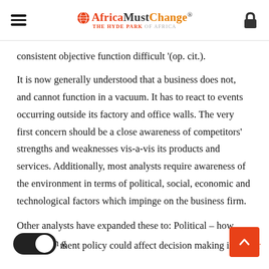AfricaMustChange® — THE HYDE PARK OF AFRICA
consistent objective function difficult '(op. cit.).
It is now generally understood that a business does not, and cannot function in a vacuum. It has to react to events occurring outside its factory and office walls. The very first concern should be a close awareness of competitors' strengths and weaknesses vis-a-vis its products and services. Additionally, most analysts require awareness of the environment in terms of political, social, economic and technological factors which impinge on the business firm.
Other analysts have expanded these to: Political – how ch­­­anges in government policy could affect decision making in the fi­rm…